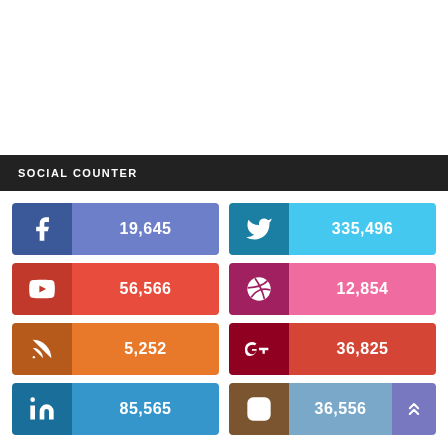SOCIAL COUNTER
[Figure (infographic): Social media counter widget showing 8 social network follower/subscriber counts: Facebook 19,645; Twitter 335,496; YouTube 56,566; Dribbble 12,854; RSS 5,252; Google+ 36,825; LinkedIn 85,565; Instagram 36,556]